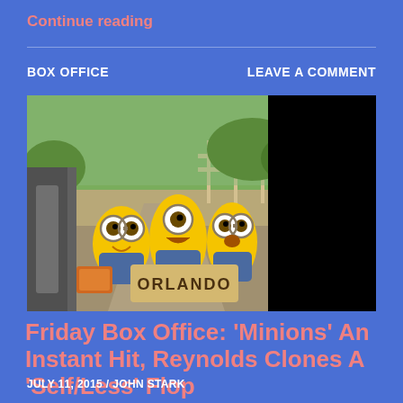Continue reading
BOX OFFICE
LEAVE A COMMENT
[Figure (photo): Three Minions characters holding a cardboard sign that reads 'Orlando', standing outdoors on a gravel path with a fence and greenery in the background. Right portion of image is blacked out.]
Friday Box Office: ‘Minions’ An Instant Hit, Reynolds Clones A ‘Self/Less’ Flop
JULY 11, 2015 / JOHN STARK